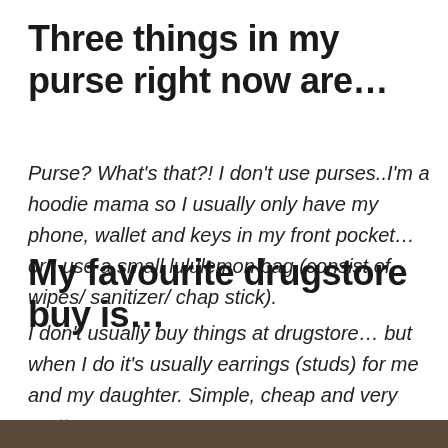Three things in my purse right now are…
Purse? What's that?! I don't use purses..I'm a hoodie mama so I usually only have my phone, wallet and keys in my front pocket… or I use a small lululemon bag (consist of wipes/ sanitizer/ chap stick).
My favourite drugstore buy is…
I don't usually buy things at drugstore… but when I do it's usually earrings (studs) for me and my daughter. Simple, cheap and very pretty.
[Figure (photo): Bottom strip of a photograph, partially visible at the bottom of the page]